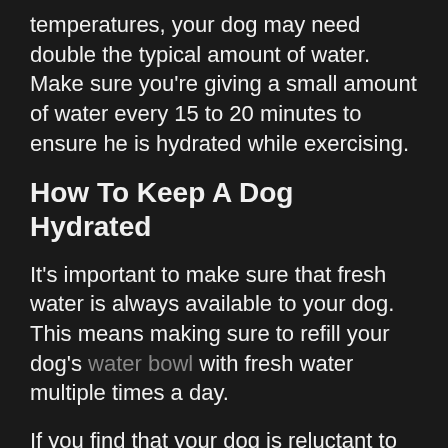temperatures, your dog may need double the typical amount of water. Make sure you're giving a small amount of water every 15 to 20 minutes to ensure he is hydrated while exercising.
How To Keep A Dog Hydrated
It's important to make sure that fresh water is always available to your dog. This means making sure to refill your dog's water bowl with fresh water multiple times a day.
If you find that your dog is reluctant to drink water, here are alternate ways to keep your dog hydrated and entice him to drink water:
• Doggie Water Fountain. While most dogs enjoy drinking still water, a water fountain can encourage your dog to lap up some extra H2O during the